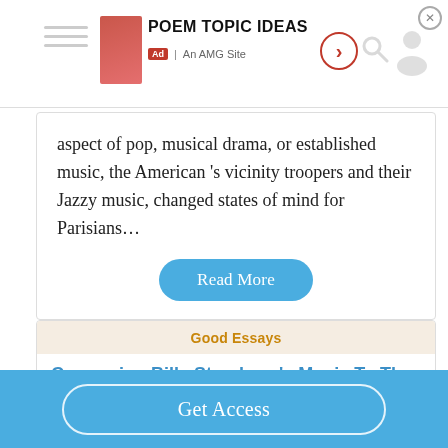[Figure (screenshot): Ad banner for 'Poem Topic Ideas' — An AMG Site, with red thumbnail, arrow button, search icon, person icon, and close button]
aspect of pop, musical drama, or established music, the American 's vicinity troopers and their Jazzy music, changed states of mind for Parisians…
Read More
Good Essays
Comparing Billy Strayhorn's Music To The World
802 Words
Get Access